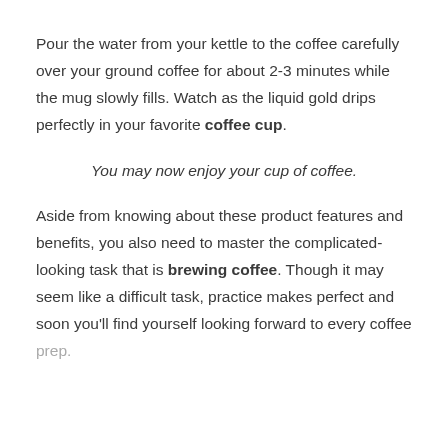Pour the water from your kettle to the coffee carefully over your ground coffee for about 2-3 minutes while the mug slowly fills. Watch as the liquid gold drips perfectly in your favorite coffee cup.
You may now enjoy your cup of coffee.
Aside from knowing about these product features and benefits, you also need to master the complicated-looking task that is brewing coffee. Though it may seem like a difficult task, practice makes perfect and soon you'll find yourself looking forward to every coffee prep.